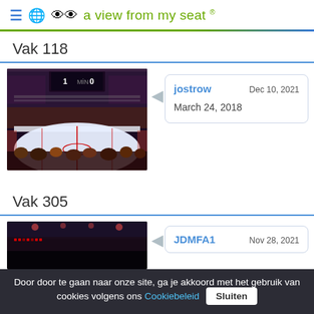≡ 🌐 👓 a view from my seat ®
Vak 118
[Figure (photo): View from seat in section Vak 118 of an ice hockey arena, showing the rink, scoreboard, and crowded stands.]
jostrow   Dec 10, 2021
March 24, 2018
Vak 305
[Figure (photo): Partial view from seat in section Vak 305 of an ice hockey arena, darkened interior visible.]
JDMFA1   Nov 28, 2021
Door door te gaan naar onze site, ga je akkoord met het gebruik van cookies volgens ons Cookiebeleid  Sluiten